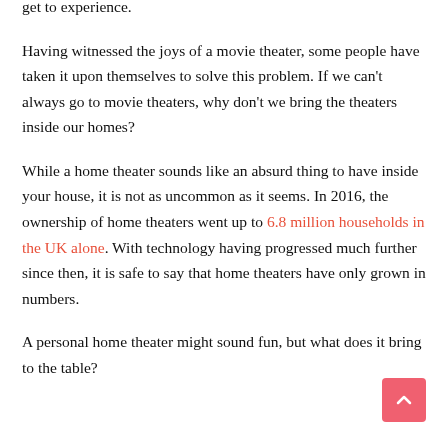get to experience.
Having witnessed the joys of a movie theater, some people have taken it upon themselves to solve this problem. If we can't always go to movie theaters, why don't we bring the theaters inside our homes?
While a home theater sounds like an absurd thing to have inside your house, it is not as uncommon as it seems. In 2016, the ownership of home theaters went up to 6.8 million households in the UK alone. With technology having progressed much further since then, it is safe to say that home theaters have only grown in numbers.
A personal home theater might sound fun, but what does it bring to the table?